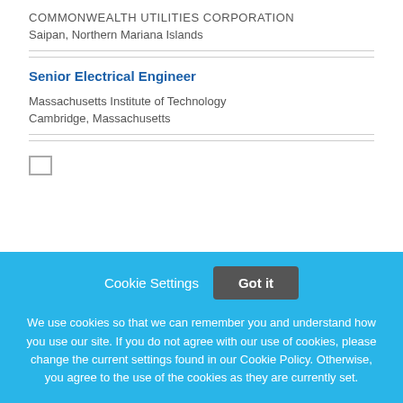COMMONWEALTH UTILITIES CORPORATION
Saipan, Northern Mariana Islands
Senior Electrical Engineer
Massachusetts Institute of Technology
Cambridge, Massachusetts
Cookie Settings
Got it
We use cookies so that we can remember you and understand how you use our site. If you do not agree with our use of cookies, please change the current settings found in our Cookie Policy. Otherwise, you agree to the use of the cookies as they are currently set.